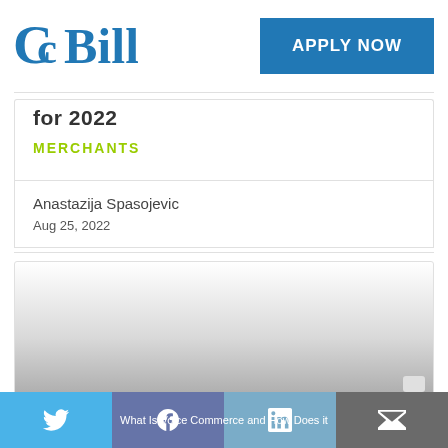[Figure (logo): CCBill logo in blue]
[Figure (other): Apply Now button in blue]
for 2022
MERCHANTS
Anastazija Spasojevic
Aug 25, 2022
[Figure (other): Article featured image area, fading grey gradient]
What Is Voice Commerce and How Does it